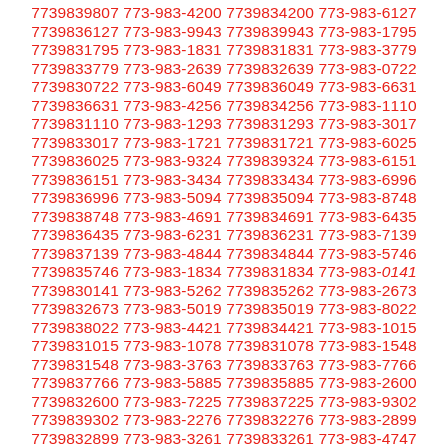7739839807 773-983-4200 7739834200 773-983-6127 7739836127 773-983-9943 7739839943 773-983-1795 7739831795 773-983-1831 7739831831 773-983-3779 7739833779 773-983-2639 7739832639 773-983-0722 7739830722 773-983-6049 7739836049 773-983-6631 7739836631 773-983-4256 7739834256 773-983-1110 7739831110 773-983-1293 7739831293 773-983-3017 7739833017 773-983-1721 7739831721 773-983-6025 7739836025 773-983-9324 7739839324 773-983-6151 7739836151 773-983-3434 7739833434 773-983-6996 7739836996 773-983-5094 7739835094 773-983-8748 7739838748 773-983-4691 7739834691 773-983-6435 7739836435 773-983-6231 7739836231 773-983-7139 7739837139 773-983-4844 7739834844 773-983-5746 7739835746 773-983-1834 7739831834 773-983-0141 7739830141 773-983-5262 7739835262 773-983-2673 7739832673 773-983-5019 7739835019 773-983-8022 7739838022 773-983-4421 7739834421 773-983-1015 7739831015 773-983-1078 7739831078 773-983-1548 7739831548 773-983-3763 7739833763 773-983-7766 7739837766 773-983-5885 7739835885 773-983-2600 7739832600 773-983-7225 7739837225 773-983-9302 7739839302 773-983-2276 7739832276 773-983-2899 7739832899 773-983-3261 7739833261 773-983-4747 7739834747 773-983-7257 7739837257 773-983-7663